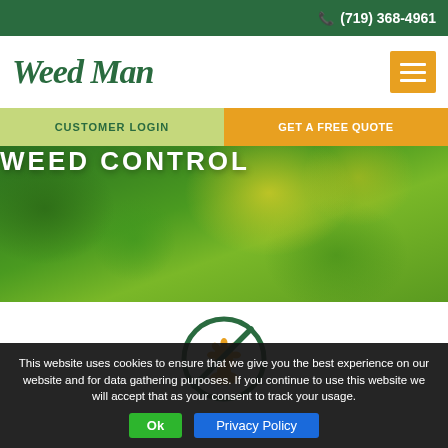(719) 368-4961
[Figure (logo): Weed Man logo in dark green serif italic font with hamburger menu button]
CUSTOMER LOGIN | GET A FREE QUOTE
WEED CONTROL
[Figure (illustration): No-weed circular icon with yellow dandelion crossed out in dark green circle]
This website uses cookies to ensure that we give you the best experience on our website and for data gathering purposes. If you continue to use this website we will accept that as your consent to track your usage.
Ok
Privacy Policy